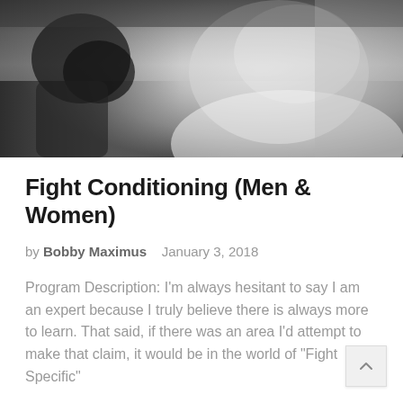[Figure (photo): Black and white photo of a smiling man in a white t-shirt with a gloved fist raised near his face, boxing or fight training context]
Fight Conditioning (Men & Women)
by Bobby Maximus    January 3, 2018
Program Description: I'm always hesitant to say I am an expert because I truly believe there is always more to learn. That said, if there was an area I'd attempt to make that claim, it would be in the world of "Fight Specific"